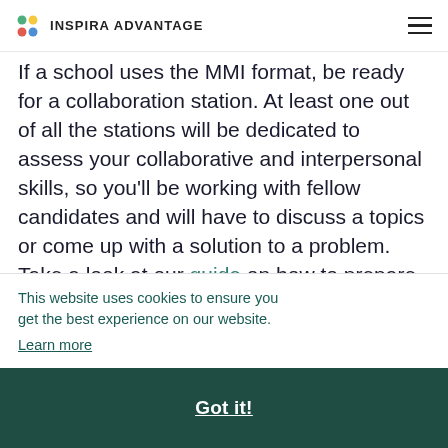INSPIRA ADVANTAGE
If a school uses the MMI format, be ready for a collaboration station. At least one out of all the stations will be dedicated to assess your collaborative and interpersonal skills, so you'll be working with fellow candidates and will have to discuss a topics or come up with a solution to a problem. Take a look at our guide on how to prepare for the MMI to ensure a successful
This website uses cookies to ensure you get the best experience on our website. Learn more
Got it!
possible. The AI Info provides a tool for medical